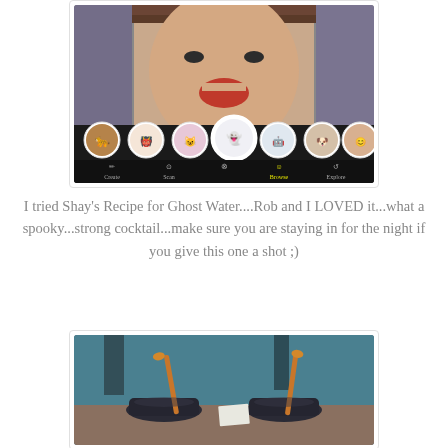[Figure (screenshot): Screenshot of a mobile app showing a face filter interface with various cartoon/animal face filter options in a row at the bottom, with a person's face visible above. Navigation bar shows Create, Scan, Browse (highlighted in yellow), and Explore options.]
I tried Shay's Recipe for Ghost Water....Rob and I LOVED it...what a spooky...strong cocktail...make sure you are staying in for the night if you give this one a shot ;)
[Figure (photo): Photo of two dark cocktail drinks in bowls/glasses with orange/wooden spoon stirrers, placed on a surface. Teal/blue fabric is visible in the background.]